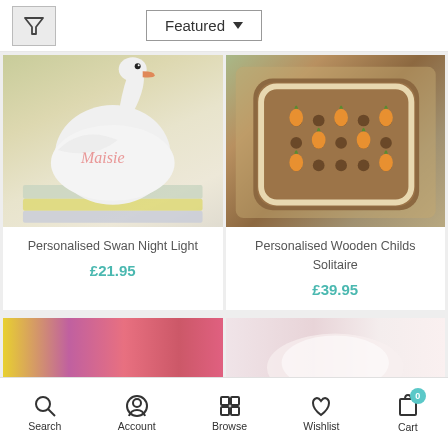[Figure (screenshot): Filter button icon (funnel/triangle shape)]
Featured ▼
[Figure (photo): Personalised Swan Night Light - white ceramic swan with name 'Maisie' in pink, sitting on coloured notebooks]
Personalised Swan Night Light
£21.95
[Figure (photo): Personalised Wooden Childs Solitaire board game with carrot-shaped pegs on wicker mat]
Personalised Wooden Childs Solitaire
£39.95
[Figure (photo): Partially visible product image on left - colourful items]
[Figure (photo): Partially visible product image on right - pale pink item]
Search   Account   Browse   Wishlist   Cart